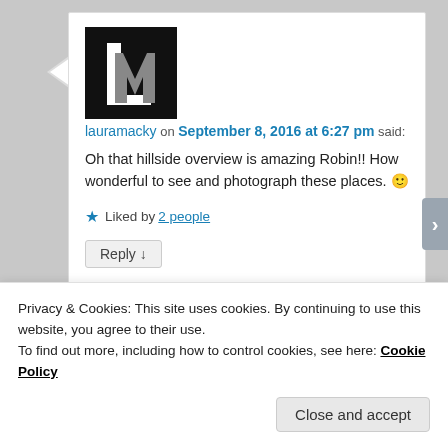[Figure (logo): Black square logo with white L and grey M letters forming LM monogram]
lauramacky on September 8, 2016 at 6:27 pm said:
Oh that hillside overview is amazing Robin!! How wonderful to see and photograph these places. 🙂
★ Liked by 2 people
Reply ↓
Robin S. Kent
Privacy & Cookies: This site uses cookies. By continuing to use this website, you agree to their use.
To find out more, including how to control cookies, see here: Cookie Policy
Close and accept